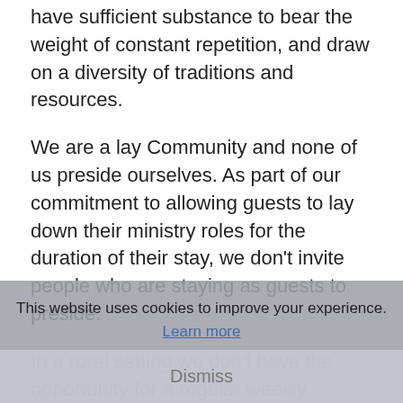have sufficient substance to bear the weight of constant repetition, and draw on a diversity of traditions and resources.
We are a lay Community and none of us preside ourselves. As part of our commitment to allowing guests to lay down their ministry roles for the duration of their stay, we don't invite people who are staying as guests to preside.
In a rural setting we don't have the opportunity for a regular weekly Eucharist here, but do display information about where guests may attend local churches on a Sunday or Exeter Cathedral midweek.
The settings and celebrants for a Eucharist here at Sheldon include
This website uses cookies to improve your experience. Learn more
Dismiss